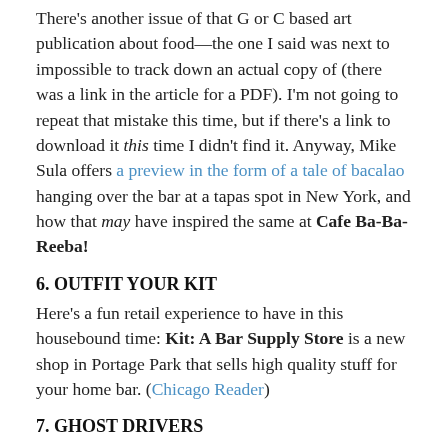There's another issue of that G or C based art publication about food—the one I said was next to impossible to track down an actual copy of (there was a link in the article for a PDF). I'm not going to repeat that mistake this time, but if there's a link to download it this time I didn't find it. Anyway, Mike Sula offers a preview in the form of a tale of bacalao hanging over the bar at a tapas spot in New York, and how that may have inspired the same at Cafe Ba-Ba-Reeba!
6. OUTFIT YOUR KIT
Here's a fun retail experience to have in this housebound time: Kit: A Bar Supply Store is a new shop in Portage Park that sells high quality stuff for your home bar. (Chicago Reader)
7. GHOST DRIVERS